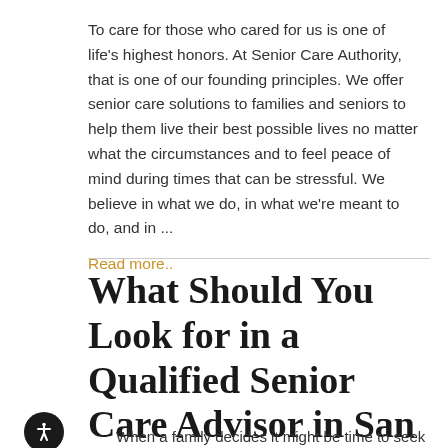To care for those who cared for us is one of life's highest honors. At Senior Care Authority, that is one of our founding principles. We offer senior care solutions to families and seniors to help them live their best possible lives no matter what the circumstances and to feel peace of mind during times that can be stressful. We believe in what we do, in what we're meant to do, and in ...
Read more..
What Should You Look for in a Qualified Senior Care Advisor in San Diego, CA?
When a family decides it might be time to seek the